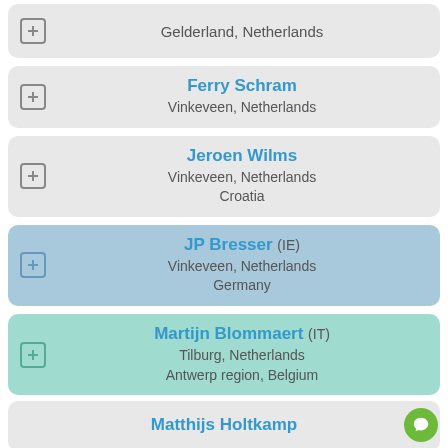Gelderland, Netherlands
Ferry Schram — Vinkeveen, Netherlands
Jeroen Wilms — Vinkeveen, Netherlands, Croatia
JP Bresser (IE) — Vinkeveen, Netherlands, Germany
Martijn Blommaert (IT) — Tilburg, Netherlands, Antwerp region, Belgium
Matthijs Holtkamp